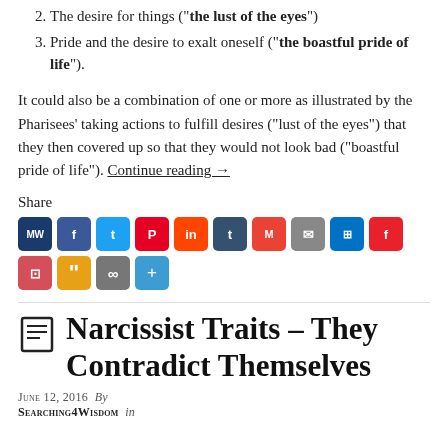2. The desire for things ("the lust of the eyes")
3. Pride and the desire to exalt oneself ("the boastful pride of life").
It could also be a combination of one or more as illustrated by the Pharisees' taking actions to fulfill desires (“lust of the eyes”) that they then covered up so that they would not look bad (“boastful pride of life”). Continue reading →
Share
[Figure (infographic): Row of social sharing icon buttons: MW, Facebook, Twitter, Pinterest, Reddit, Tumblr, Gmail, Email, Outlook, Flipboard, Pocket, Quotebacks, Link, Share More]
Narcissist Traits – They Contradict Themselves
June 12, 2016  By
Searching4Wisdom  in